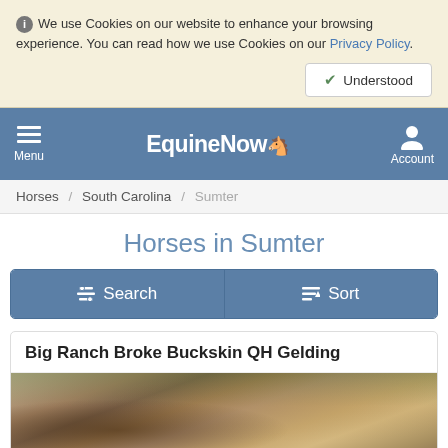We use Cookies on our website to enhance your browsing experience. You can read how we use Cookies on our Privacy Policy.
EquineNow — Menu | Account
Horses / South Carolina / Sumter
Horses in Sumter
Search   Sort
Big Ranch Broke Buckskin QH Gelding
[Figure (photo): Photo of a buckskin quarter horse with a western saddle, standing outdoors with trees in background]